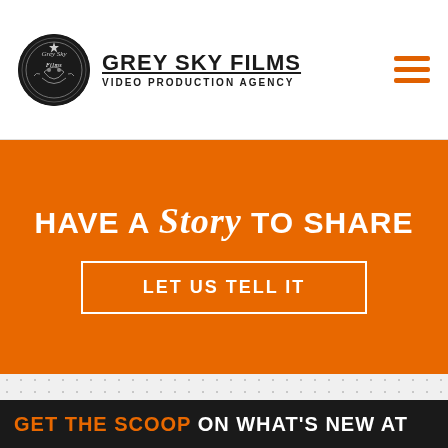[Figure (logo): Grey Sky Films logo: circular black badge with decorative text/illustration, next to company name 'GREY SKY FILMS' in bold uppercase with underline and subtitle 'VIDEO PRODUCTION AGENCY' in small caps]
[Figure (other): Hamburger menu icon: three horizontal orange bars stacked vertically]
HAVE A Story TO SHARE
LET US TELL IT
GET THE SCOOP ON WHAT'S NEW AT